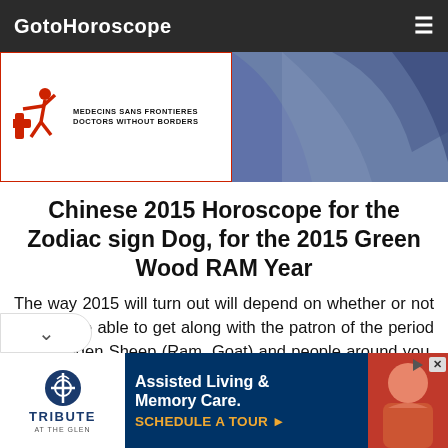GotoHoroscope
[Figure (logo): Médecins Sans Frontières / Doctors Without Borders logo with red running figure icon and text MEDECINS SANS FRONTIERES DOCTORS WITHOUT BORDERS, alongside a photo of a person in blue clothing]
Chinese 2015 Horoscope for the Zodiac sign Dog, for the 2015 Green Wood RAM Year
The way 2015 will turn out will depend on whether or not you will be able to get along with the patron of the period the Wooden Sheep (Ram, Goat) and people around you. The Dogs who will constantly and whinge will not only fail to make any
[Figure (infographic): Tribute at the Glen advertisement: Assisted Living & Memory Care. SCHEDULE A TOUR with Tribute logo and photo of elderly person]